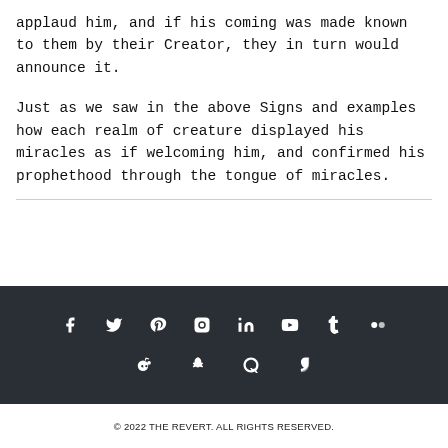applaud him, and if his coming was made known to them by their Creator, they in turn would announce it.
Just as we saw in the above Signs and examples how each realm of creature displayed his miracles as if welcoming him, and confirmed his prophethood through the tongue of miracles.
[Figure (infographic): Social media icon bar with icons for Facebook, Twitter, Pinterest, Instagram, LinkedIn, YouTube, Tumblr, Flickr (top row) and Reddit, Snapchat, Quora, Vine (bottom row) on dark background]
© 2022 THE REVERT. ALL RIGHTS RESERVED.